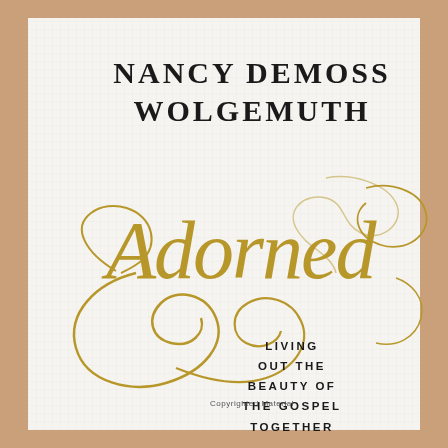[Figure (illustration): Book cover for 'Adorned' by Nancy DeMoss Wolgemuth. White/light gray textured background with salmon/tan border. Author name in large black serif caps at top. Title 'Adorned' in large gold cursive calligraphic script with decorative flourishes. Subtitle in small black uppercase sans-serif on the right side reading 'Living Out the Beauty of the Gospel Together'. Small 'Copyrighted Material' notice at the bottom center.]
NANCY DEMOSS WOLGEMUTH
Adorned
LIVING OUT THE BEAUTY OF THE GOSPEL TOGETHER
Copyrighted Material